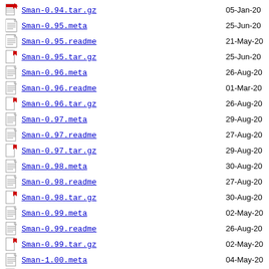Sman-0.94.tar.gz  05-Jan-20
Sman-0.95.meta  25-Jun-20
Sman-0.95.readme  21-May-20
Sman-0.95.tar.gz  25-Jun-20
Sman-0.96.meta  26-Aug-20
Sman-0.96.readme  01-Mar-20
Sman-0.96.tar.gz  26-Aug-20
Sman-0.97.meta  29-Aug-20
Sman-0.97.readme  27-Aug-20
Sman-0.97.tar.gz  29-Aug-20
Sman-0.98.meta  30-Aug-20
Sman-0.98.readme  27-Aug-20
Sman-0.98.tar.gz  30-Aug-20
Sman-0.99.meta  02-May-20
Sman-0.99.readme  26-Aug-20
Sman-0.99.tar.gz  02-May-20
Sman-1.00.meta  04-May-20